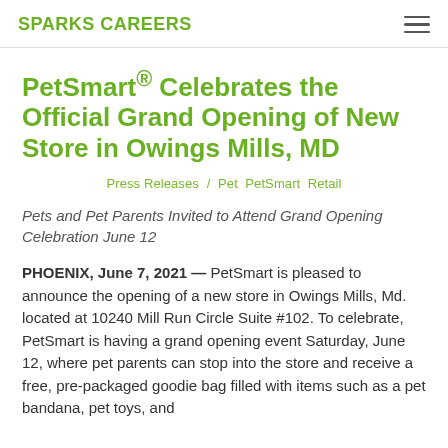SPARKS CAREERS
PetSmart® Celebrates the Official Grand Opening of New Store in Owings Mills, MD
Press Releases / Pet PetSmart Retail
Pets and Pet Parents Invited to Attend Grand Opening Celebration June 12
PHOENIX, June 7, 2021 — PetSmart is pleased to announce the opening of a new store in Owings Mills, Md. located at 10240 Mill Run Circle Suite #102. To celebrate, PetSmart is having a grand opening event Saturday, June 12, where pet parents can stop into the store and receive a free, pre-packaged goodie bag filled with items such as a pet bandana, pet toys, and